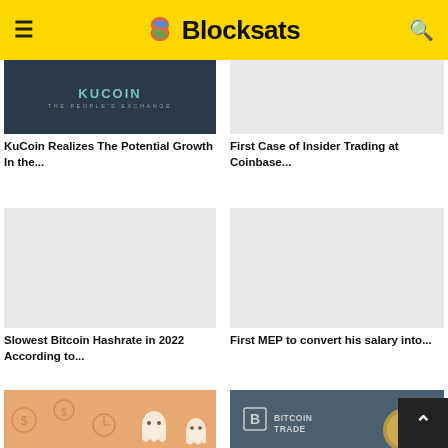Blocksats
[Figure (photo): KuCoin exchange dark background with text 'The People's Exchange']
KuCoin Realizes The Potential Growth In the...
[Figure (photo): Light gray placeholder image for Coinbase insider trading article]
First Case of Insider Trading at Coinbase...
[Figure (photo): Light gray placeholder image for Bitcoin hashrate article]
Slowest Bitcoin Hashrate in 2022 According to...
[Figure (photo): Light gray placeholder image for MEP salary article]
First MEP to convert his salary into...
[Figure (illustration): Orange/peach illustrated background with ghost figures and financial icons (dollar signs, clocks, coins)]
[Figure (photo): BitcoinTrade logo on dark background with coin image]